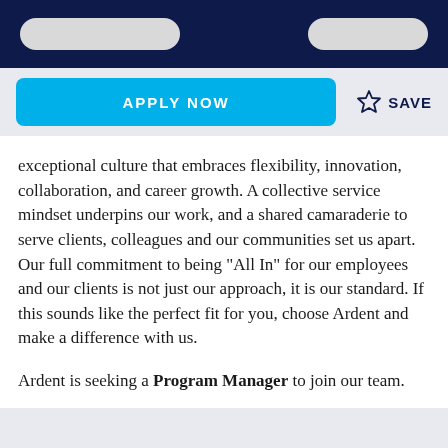[Figure (other): Dark navy top bar with two light gray pill/rounded rectangle shapes]
[Figure (other): Action bar with cyan 'APPLY NOW' button and star icon with 'SAVE' text]
exceptional culture that embraces flexibility, innovation, collaboration, and career growth. A collective service mindset underpins our work, and a shared camaraderie to serve clients, colleagues and our communities set us apart. Our full commitment to being "All In" for our employees and our clients is not just our approach, it is our standard. If this sounds like the perfect fit for you, choose Ardent and make a difference with us.
Ardent is seeking a Program Manager to join our team.